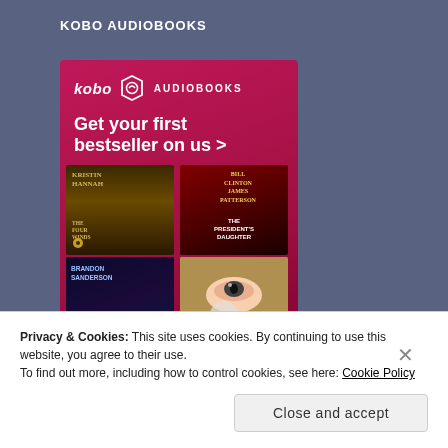KOBO AUDIOBOOKS
[Figure (illustration): Kobo Audiobooks advertisement banner with logo, tagline 'Get your first bestseller on us >', and a 2x2 grid of audiobook covers including The Four Winds by Kristin Hannah, The President's Daughter by Bill Clinton & James Patterson, a Brandon Sanderson book, and another title.]
Privacy & Cookies: This site uses cookies. By continuing to use this website, you agree to their use.
To find out more, including how to control cookies, see here: Cookie Policy
Close and accept